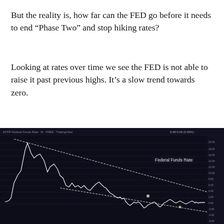But the reality is, how far can the FED go before it needs to end “Phase Two” and stop hiking rates?
Looking at rates over time we see the FED is not able to raise it past previous highs. It’s a slow trend towards zero.
Based upon this I find it hard to image we get much past 1.5%.
[Figure (continuous-plot): TradingView chart of Federal Funds Rate (monthly) on a dark background, showing a long-term downtrending channel. White line traces the rate from high peaks (~20%) in the early 1980s to progressively lower peaks, with diagonal lines forming a descending channel converging toward zero. Label reads 'Federal Funds Rate'.]